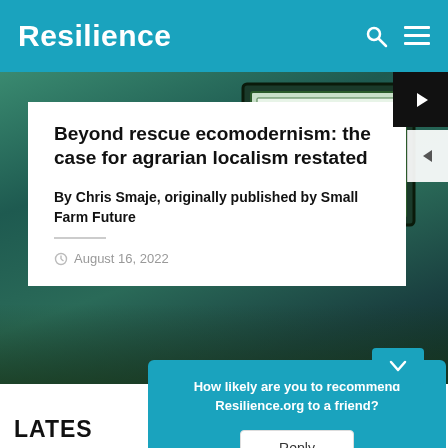Resilience
[Figure (photo): Hero image showing a book or sign with text 'BUILD LOCAL ECONOMIES PROVISIONING' held by hands against a green/grass background. A white article card overlays the lower portion.]
Beyond rescue ecomodernism: the case for agrarian localism restated
By Chris Smaje, originally published by Small Farm Future
August 16, 2022
How likely are you to recommend Resilience.org to a friend?
Reply
LATES